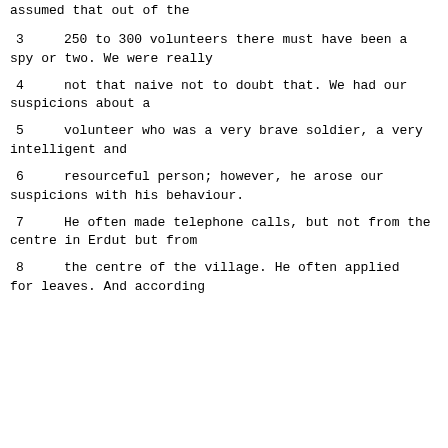assumed that out of the
3      250 to 300 volunteers there must have been a spy or two.  We were really
4      not that naive not to doubt that.  We had our suspicions about a
5      volunteer who was a very brave soldier, a very intelligent and
6      resourceful person; however, he arose our suspicions with his behaviour.
7      He often made telephone calls, but not from the centre in Erdut but from
8      the centre of the village.  He often applied for leaves.  And according